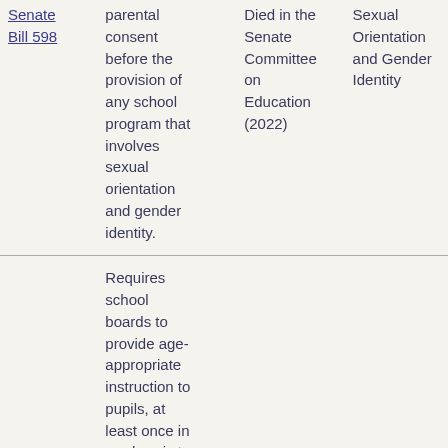| Bill | Description | Status | Topic |
| --- | --- | --- | --- |
| Senate Bill 598 | parental consent before the provision of any school program that involves sexual orientation and gender identity. | Died in the Senate Committee on Education (2022) | Sexual Orientation and Gender Identity |
|  | Requires school boards to provide age-appropriate instruction to pupils, at least once in grades six to |  |  |